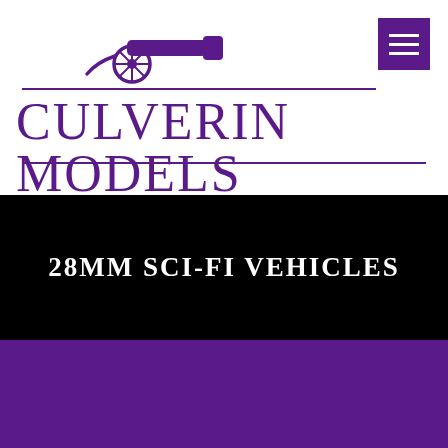[Figure (logo): Culverin Models logo with cannon icon above brand name in purple]
CULVERIN MODELS
28MM SCI-FI VEHICLES